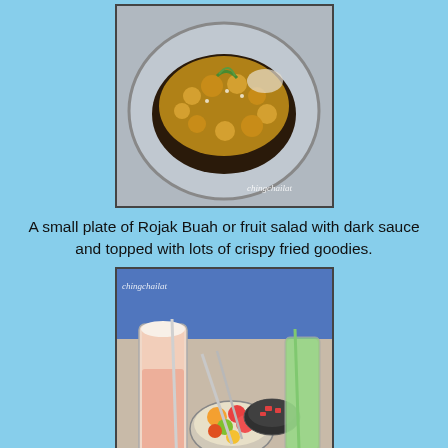[Figure (photo): A plate of Rojak Buah (fruit salad) with dark sauce and crispy fried toppings on a metal tray, with watermark 'chingchailat']
A small plate of Rojak Buah or fruit salad with dark sauce and topped with lots of crispy fried goodies.
[Figure (photo): A table spread with drinks including a tall glass of pinkish drink, a bowl of colorful fruit cocktail, a green drink, and bowls of food. Watermark 'chingchailat']
We also ordered a bowl of their Special Hawaii fruit cocktail